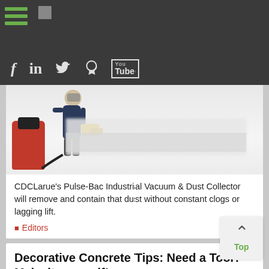[Figure (screenshot): Website navigation bar with hamburger menu icon (three green horizontal lines) and a small logo placeholder on dark gray background]
[Figure (screenshot): Social media icon bar with Facebook (f), LinkedIn (in), Twitter bird, Pinterest (p), and YouTube icons on dark gray background]
[Figure (photo): Photo of a worker using a Pulse-Bac industrial vacuum and dust collector on a surface, with red vacuum canister and yellow equipment, blurred background area]
CDCLarue's Pulse-Bac Industrial Vacuum & Dust Collector will remove and contain that dust without constant clogs or lagging lift.
Editors   Jul
Decorative Concrete Tips: Need a Tool? Make it yourself!
[Figure (photo): Partial photo of hands working with concrete tools and materials]